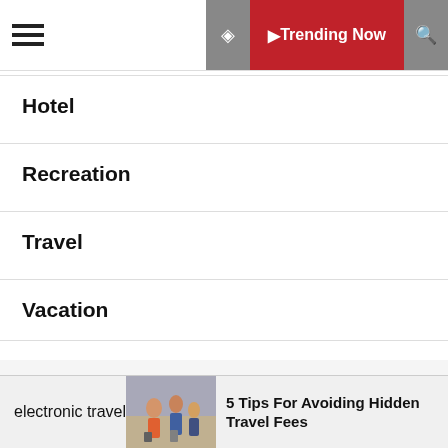Trending Now
Hotel
Recreation
Travel
Vacation
August 2022
| M | T | W | T | F | S | S |
| --- | --- | --- | --- | --- | --- | --- |
| 1 | 2 | 3 | 4 | 5 | 6 | 7 |
1 electronic travel
5 Tips For Avoiding Hidden Travel Fees